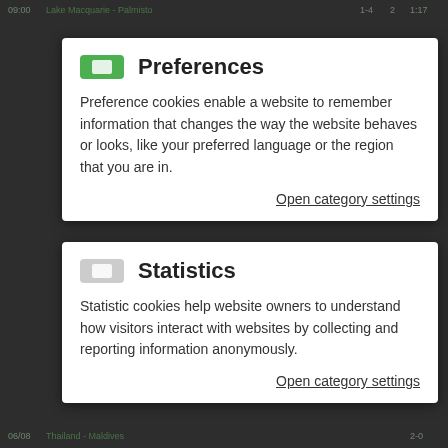[Figure (screenshot): Cookie preferences modal dialog overlay on a sports betting website. Two modal cards are visible: 'Preferences' (with green toggle, description text, and 'Open category settings' link) and 'Statistics' (with gray toggle, description text, and 'Open category settings' link). Behind the modals, faded sports match data rows are visible.]
Preferences
Preference cookies enable a website to remember information that changes the way the website behaves or looks, like your preferred language or the region that you are in.
Open category settings
Statistics
Statistic cookies help website owners to understand how visitors interact with websites by collecting and reporting information anonymously.
Open category settings